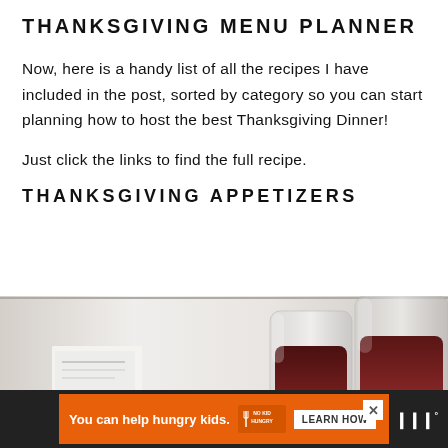THANKSGIVING MENU PLANNER
Now, here is a handy list of all the recipes I have included in the post, sorted by category so you can start planning how to host the best Thanksgiving Dinner!
Just click the links to find the full recipe.
THANKSGIVING APPETIZERS
[Figure (photo): Photo of wine glasses with red wine on a white table surface, partially visible at bottom of page]
[Figure (infographic): Advertisement banner: orange background with text 'You can help hungry kids.' and No Kid Hungry logo with Learn How button]